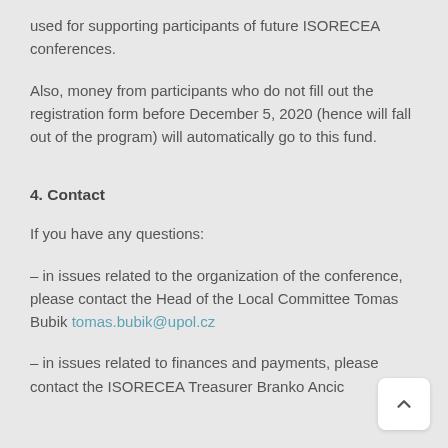used for supporting participants of future ISORECEA conferences.
Also, money from participants who do not fill out the registration form before December 5, 2020 (hence will fall out of the program) will automatically go to this fund.
4. Contact
If you have any questions:
– in issues related to the organization of the conference, please contact the Head of the Local Committee Tomas Bubik tomas.bubik@upol.cz
– in issues related to finances and payments, please contact the ISORECEA Treasurer Branko Ancic